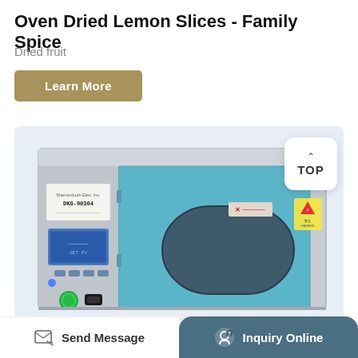Oven Dried Lemon Slices - Family Spice
Dried fruit
Learn More
[Figure (photo): Photo of a laboratory/industrial oven (DKG-90304) with a blue interior panel, digital control display, green power button, and a large cylindrical metal object visible inside the oven chamber. Yellow warning label visible on the right side.]
Send Message
Inquiry Online